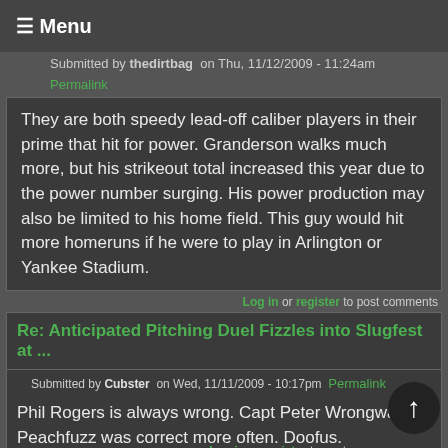≡ Menu
Submitted by thedirtbag on Thu, 11/12/2009 - 11:24am
Permalink
They are both speedy lead-off caliber players in their prime that hit for power. Granderson walks much more, but his strikeout total increased this year due to the power number surging. His power production may also be limited to his home field. This guy would hit more homeruns if he were to play in Arlington or Yankee Stadium.
Log in or register to post comments
Re: Anticipated Pitching Duel Fizzles into Slugfest at ...
Submitted by Cubster on Wed, 11/11/2009 - 10:17pm  Permalink
Phil Rogers is always wrong. Capt Peter Wrongway Peachfuzz was correct more often. Doofus.
Log in or register to post comm
Rosenthal's buzz and Cattle prods...
Submitted by Cubster on Wed, 11/11/2009 - 10:23pm  Permalink